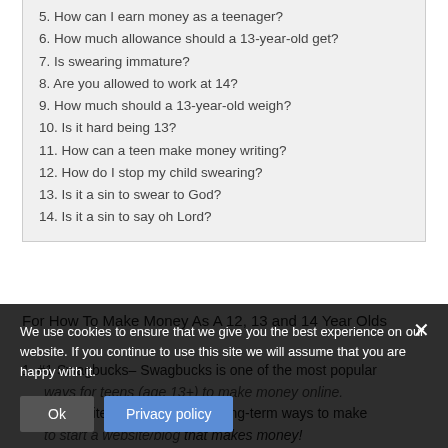5. How can I earn money as a teenager?
6. How much allowance should a 13-year-old get?
7. Is swearing immature?
8. Are you allowed to work at 14?
9. How much should a 13-year-old weigh?
10. Is it hard being 13?
11. How can a teen make money writing?
12. How do I stop my child swearing?
13. Is it a sin to swear to God?
14. Is it a sin to say oh Lord?
For How To Make Money As A 12, 13 and 14 Year Olds
1. #1 Swagbucks– Swagbucks is one of the most popular ways for teens (age 13+) to make money online.
2. #2 Website– One of the best long-term ways to make money is to start a website/blog that makes money!
3. #3 Snagajob– If you are old enough to get a job,
We use cookies to ensure that we give you the best experience on our website. If you continue to use this site we will assume that you are happy with it.